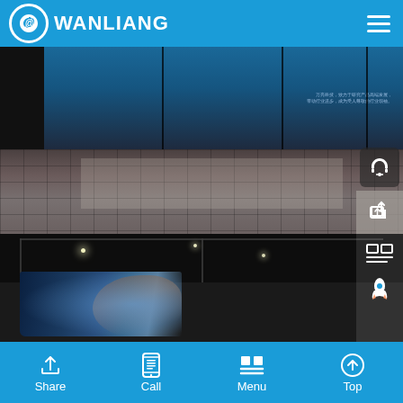[Figure (screenshot): Website header with Wanliang logo (circular icon with '@' symbol) and brand name 'WANLIANG' on blue background, with hamburger menu icon on the right]
[Figure (photo): Outdoor photo of a building facade with large blue LED display wall and tiled plaza floor. Headset/customer service icon and share icon visible on the right side.]
[Figure (photo): Indoor photo showing an LED display screen in what appears to be a mall or commercial space, with ceiling lights. Side icons showing a grid/layout icon, list icon, and rocket/launch icon on the right.]
Share  Call  Menu  Top